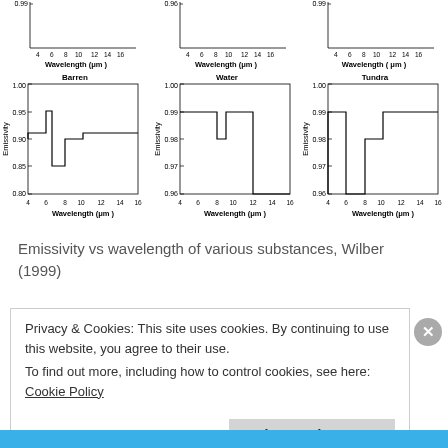[Figure (line-chart): Six small line charts showing emissivity vs wavelength (μm) for various substances including Barren, Water, and Tundra (bottom row visible), with y-axes labeled Emissivity and x-axes labeled Wavelength (μm). Top row shows three partial charts with y-values near 0.99 and 0.96.]
Emissivity vs wavelength of various substances, Wilber (1999)
Privacy & Cookies: This site uses cookies. By continuing to use this website, you agree to their use.
To find out more, including how to control cookies, see here: Cookie Policy